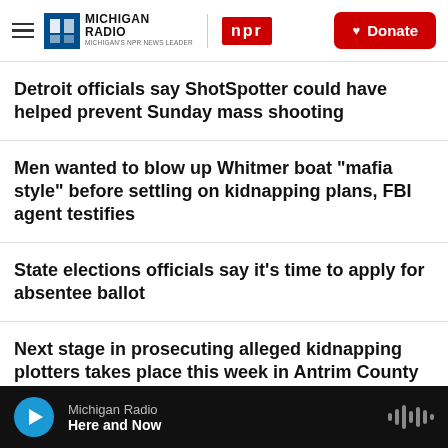Michigan Radio | NPR | Donate
Detroit officials say ShotSpotter could have helped prevent Sunday mass shooting
Men wanted to blow up Whitmer boat "mafia style" before settling on kidnapping plans, FBI agent testifies
State elections officials say it's time to apply for absentee ballot
Next stage in prosecuting alleged kidnapping plotters takes place this week in Antrim County
Michigan Radio | Here and Now